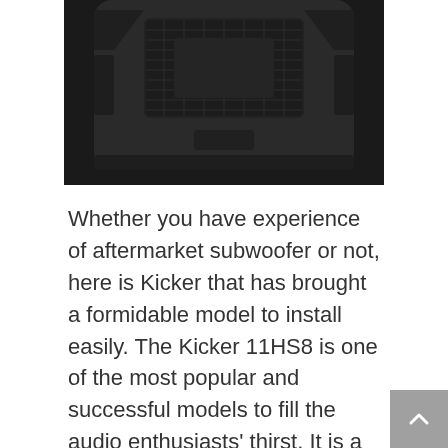[Figure (photo): Bottom view of a Kicker 11HS8 subwoofer enclosure, showing a black rectangular housing with a mesh grille and molded plastic casing.]
Whether you have experience of aftermarket subwoofer or not, here is Kicker that has brought a formidable model to install easily. The Kicker 11HS8 is one of the most popular and successful models to fill the audio enthusiasts' thirst. It is a compact but powered subwoofer to fit a tiny space. The 8-inch under seat subwoofer comes with 3-inch tall to fit under many seats and in storage areas. It features Hideaway™ to fit such a space where you don't find powered subs. In fact, the plug-and-play installation of the sub helps you hook it up to your audio